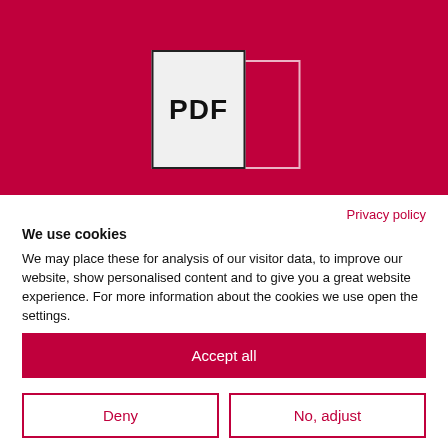[Figure (illustration): Dark red/crimson hero banner with a white document page icon showing the text 'PDF' in bold, with a second page peeking behind it.]
Privacy policy
We use cookies
We may place these for analysis of our visitor data, to improve our website, show personalised content and to give you a great website experience. For more information about the cookies we use open the settings.
Accept all
Deny
No, adjust